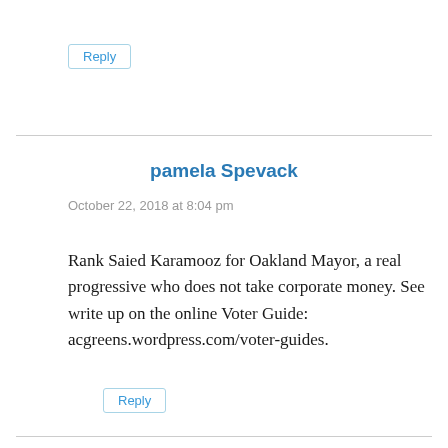Reply
pamela Spevack
October 22, 2018 at 8:04 pm
Rank Saied Karamooz for Oakland Mayor, a real progressive who does not take corporate money. See write up on the online Voter Guide:
acgreens.wordpress.com/voter-guides.
Reply